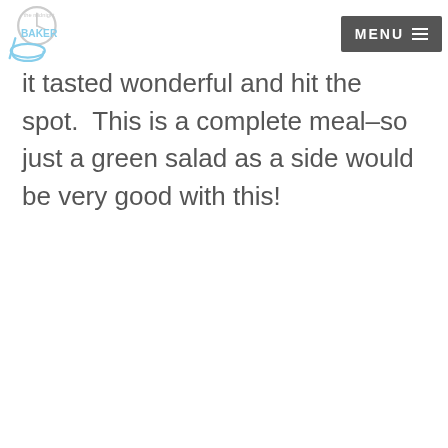The Midnight Baker — MENU
it tasted wonderful and hit the spot.  This is a complete meal–so just a green salad as a side would be very good with this!